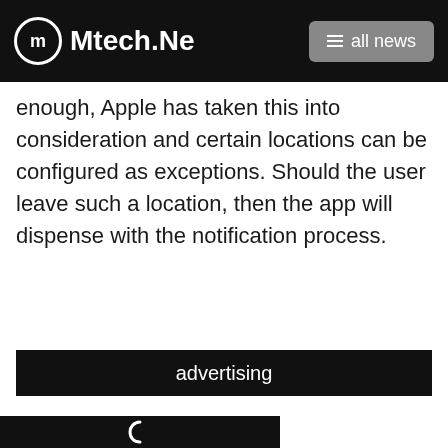Mtech.Ne… all news
enough, Apple has taken this into consideration and certain locations can be configured as exceptions. Should the user leave such a location, then the app will dispense with the notification process.
advertising